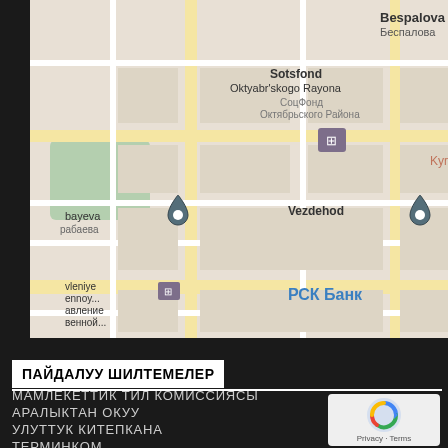[Figure (map): Google Maps screenshot showing a street map with locations including Bespalova, Sotsfond Oktyabr'skogo Rayona, Vezdehod, РСК Банк, and bus stop icons in what appears to be a city in Kyrgyzstan]
ПАЙДАЛУУ ШИЛТЕМЕЛЕР
МАМЛЕКЕТТИК ТИЛ КОМИССИЯСЫ
АРАЛЫКТАН ОКУУ
УЛУТТУК КИТЕПКАНА
ТЕРМИНКОМ
[Figure (logo): reCAPTCHA logo with Privacy and Terms text]